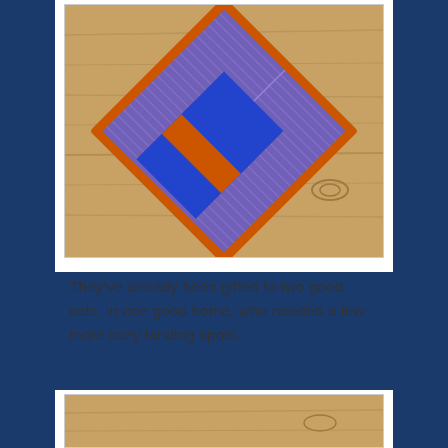[Figure (photo): A handmade knitted or woven potholder/mat in blue, orange, and purple colors arranged in a diamond orientation, placed on a wooden surface.]
They've already been gifted to two good cats, in one good home, who needed a few more cozy landing spots.
[Figure (photo): Partial view of a wooden surface, bottom image cropped.]